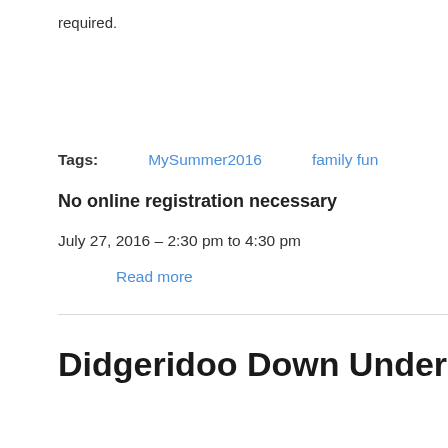required.
Tags:   MySummer2016   family fun
No online registration necessary
July 27, 2016 – 2:30 pm to 4:30 pm
Read more
Didgeridoo Down Under